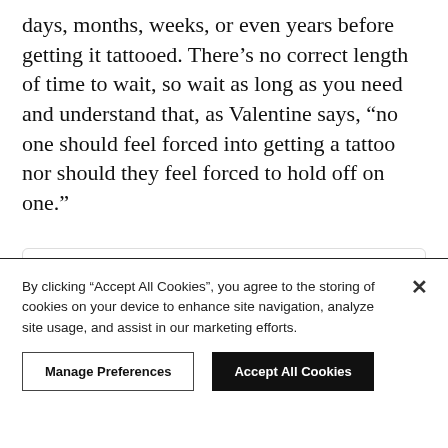days, months, weeks, or even years before getting it tattooed. There’s no correct length of time to wait, so wait as long as you need and understand that, as Valentine says, “no one should feel forced into getting a tattoo nor should they feel forced to hold off on one.”
[Figure (other): Profile card with circular avatar photo, username 'astrid.elisabeth', location 'New York, New York', and a blue 'View profile' button]
By clicking “Accept All Cookies”, you agree to the storing of cookies on your device to enhance site navigation, analyze site usage, and assist in our marketing efforts.